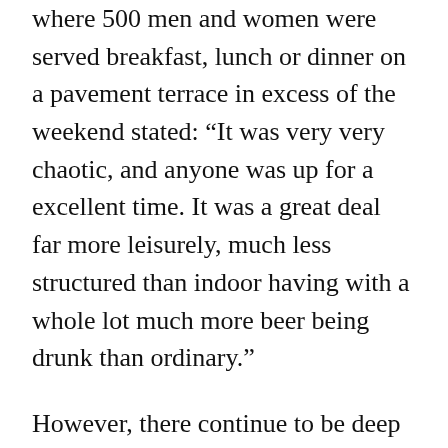where 500 men and women were served breakfast, lunch or dinner on a pavement terrace in excess of the weekend stated: “It was very very chaotic, and anyone was up for a excellent time. It was a great deal far more leisurely, much less structured than indoor having with a whole lot much more beer being drunk than ordinary.”
However, there continue to be deep issues that central London’s recovery will be hobbled by workers shortages and only a slow and partial return of office environment personnel to their desks.
Ros Morgan, main executive of the Heart of